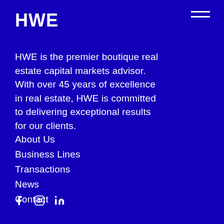HWE
HWE is the premier boutique real estate capital markets advisor. With over 45 years of excellence in real estate, HWE is committed to delivering exceptional results for our clients.
About Us
Business Lines
Transactions
News
Contact
[Figure (other): Social media icons: Facebook, Instagram, LinkedIn]